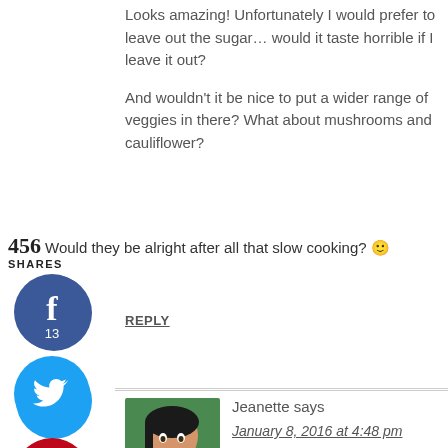Looks amazing! Unfortunately I would prefer to leave out the sugar… would it taste horrible if I leave it out? And wouldn't it be nice to put a wider range of veggies in there? What about mushrooms and cauliflower? Would they be alright after all that slow cooking? 🙂
456 SHARES
REPLY
[Figure (illustration): Facebook share button circle, dark blue, with 'f' icon and count 13]
[Figure (illustration): Twitter share button circle, light blue, with bird icon]
[Figure (illustration): Pinterest save button circle, red, with 'p' icon and count 443]
[Figure (illustration): Yummly share button circle, orange, with 'yum' text]
[Figure (photo): Profile photo of Jeanette, Asian woman smiling, wearing purple top, green background]
Jeanette says
January 8, 2016 at 4:48 pm
Irene – you could definitely leave out the sugar, and adding a wider variety of vegetables is a fantastic idea. Mushrooms would be great as well as other root vegetables. If you use cauliflower or other vegetables that cook more quickly (e.g., zucchini, bell peppers), it might turn mushy if cooked too long, so maybe